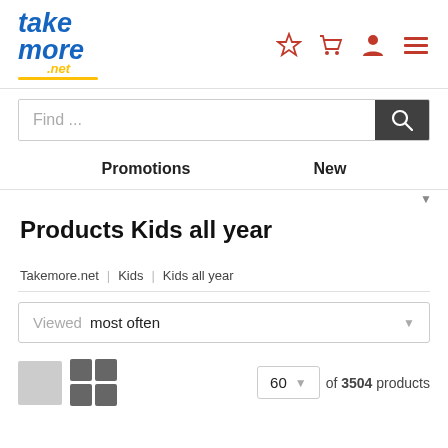[Figure (logo): Takemore.net logo in blue and yellow italic text]
[Figure (infographic): Header icons: star (favorites), shopping cart, user account, hamburger menu — all in red]
Find ...
Promotions
New
Products Kids all year
Takemore.net | Kids | Kids all year
Viewed   most often
60   of 3504 products